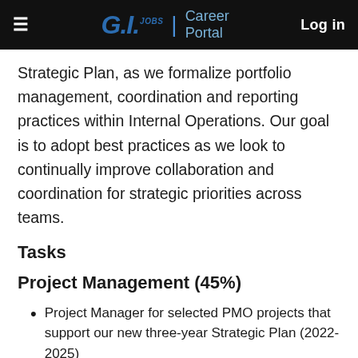G.I.JOBS | Career Portal   Log in
Strategic Plan, as we formalize portfolio management, coordination and reporting practices within Internal Operations. Our goal is to adopt best practices as we look to continually improve collaboration and coordination for strategic priorities across teams.
Tasks
Project Management (45%)
Project Manager for selected PMO projects that support our new three-year Strategic Plan (2022-2025)